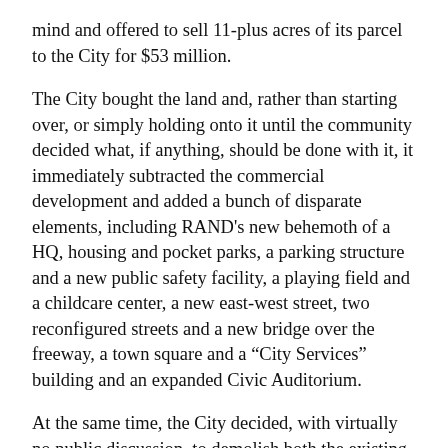mind and offered to sell 11-plus acres of its parcel to the City for $53 million.
The City bought the land and, rather than starting over, or simply holding onto it until the community decided what, if anything, should be done with it, it immediately subtracted the commercial development and added a bunch of disparate elements, including RAND's new behemoth of a HQ, housing and pocket parks, a parking structure and a new public safety facility, a playing field and a childcare center, a new east-west street, two reconfigured streets and a new bridge over the freeway, a town square and a “City Services” building and an expanded Civic Auditorium.
At the same time, the City decided, with virtually no public discussion, to demolish both the existing RAND buildings, though they are historically significant as well as ideal candidates for “adaptive reuse,” and the back portion of the City Hall, though it could be rehabbed and restored to use as City offices.